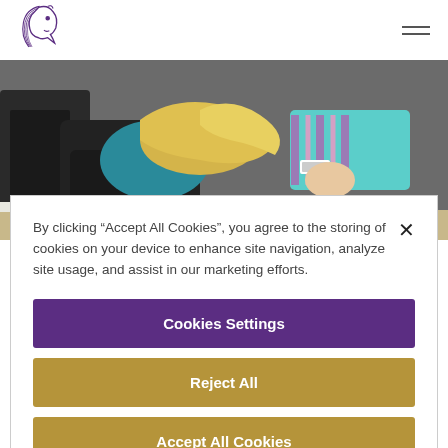[Figure (logo): Purple horse head logo with swooping lines]
[Figure (photo): A person with blonde hair sitting in a salon chair being attended to by a stylist wearing a teal striped outfit]
By clicking “Accept All Cookies”, you agree to the storing of cookies on your device to enhance site navigation, analyze site usage, and assist in our marketing efforts.
Cookies Settings
Reject All
Accept All Cookies